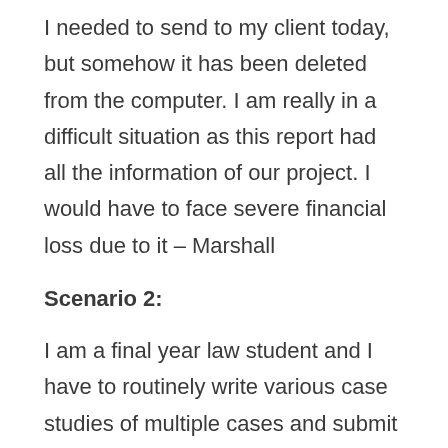I needed to send to my client today, but somehow it has been deleted from the computer. I am really in a difficult situation as this report had all the information of our project. I would have to face severe financial loss due to it – Marshall
Scenario 2:
I am a final year law student and I have to routinely write various case studies of multiple cases and submit to my professor. These case studies take too much time to complete and I always save them on one of my desktop folders. But today, when I opened the computer, the folder was not there. Now I will